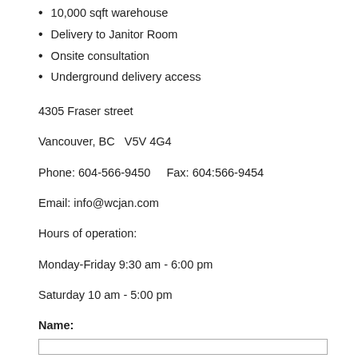10,000 sqft warehouse
Delivery to Janitor Room
Onsite consultation
Underground delivery access
4305 Fraser street
Vancouver, BC  V5V 4G4
Phone: 604-566-9450     Fax: 604:566-9454
Email: info@wcjan.com
Hours of operation:
Monday-Friday 9:30 am - 6:00 pm
Saturday 10 am - 5:00 pm
Name: